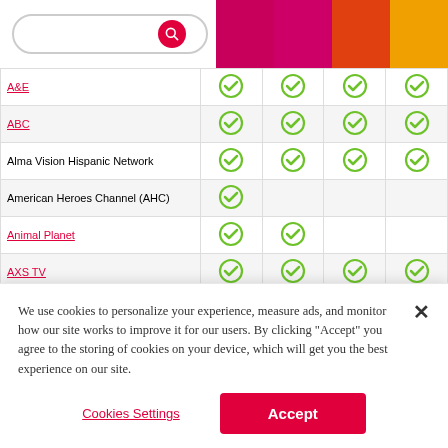| Channel | Col1 | Col2 | Col3 | Col4 |
| --- | --- | --- | --- | --- |
| A&E | ✓ | ✓ | ✓ | ✓ |
| ABC | ✓ | ✓ | ✓ | ✓ |
| Alma Vision Hispanic Network | ✓ | ✓ | ✓ | ✓ |
| American Heroes Channel (AHC) | ✓ |  |  |  |
| Animal Planet | ✓ | ✓ |  |  |
| AXS TV | ✓ | ✓ | ✓ | ✓ |
| BabyFirstTV | ✓ | ✓ | ✓ | ✓ |
| Beauty & Fashion Channel | ✓ | ✓ | ✓ | ✓ |
We use cookies to personalize your experience, measure ads, and monitor how our site works to improve it for our users. By clicking "Accept" you agree to the storing of cookies on your device, which will get you the best experience on our site.